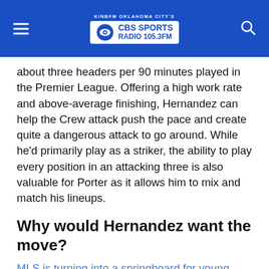KINBFM OKLAHOMA CITY'S CBS SPORTS RADIO 105.3FM
about three headers per 90 minutes played in the Premier League. Offering a high work rate and above-average finishing, Hernandez can help the Crew attack push the pace and create quite a dangerous attack to go around. While he'd primarily play as a striker, the ability to play every position in an attacking three is also valuable for Porter as it allows him to mix and match his lineups.
Why would Hernandez want the move?
MLS is turning into a springboard for young players around the world as they're able to come to America, and if they perform well, get a bigger move elsewhere. For Hernandez, if he wants to prove that he can play as a striker and not a winger, MLS is the perfect place for him to do it as leading the Crew to the playoffs with a 15-goal season or better